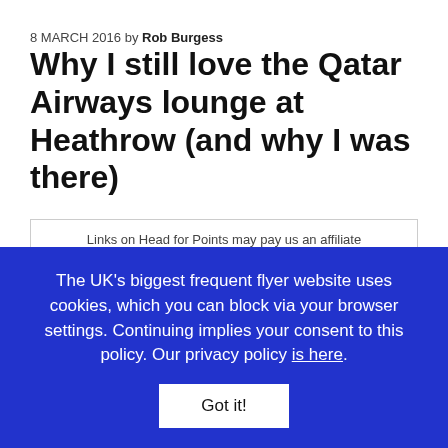8 MARCH 2016 by Rob Burgess
Why I still love the Qatar Airways lounge at Heathrow (and why I was there)
Links on Head for Points may pay us an affiliate commission. A list of partners is here.
This is my review of the Qatar Airways Premium Lounge at Heathrow Terminal 4.
This is part of our series of reviews of airport lounges
The UK's biggest frequent flyer website uses cookies, which you can block via your browser settings. Continuing implies your consent to this policy. Our privacy policy is here.
Got it!